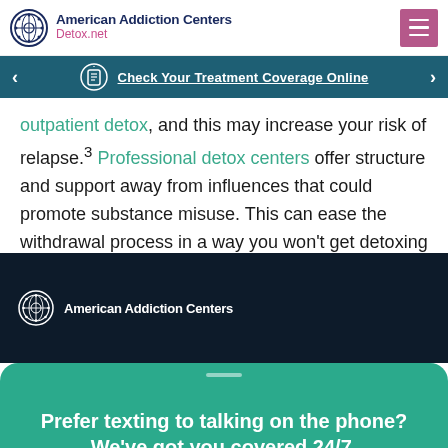American Addiction Centers Detox.net
Check Your Treatment Coverage Online
outpatient detox, and this may increase your risk of relapse.3 Professional detox centers offer structure and support away from influences that could promote substance misuse. This can ease the withdrawal process in a way you won't get detoxing at home.
[Figure (logo): American Addiction Centers logo on dark background]
Prefer texting to talking on the phone? We've got you covered 24/7.